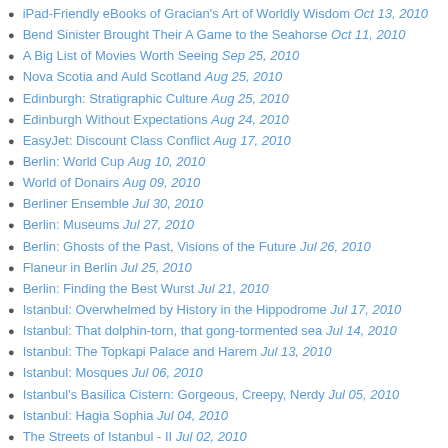iPad-Friendly eBooks of Gracian's Art of Worldly Wisdom Oct 13, 2010
Bend Sinister Brought Their A Game to the Seahorse Oct 11, 2010
A Big List of Movies Worth Seeing Sep 25, 2010
Nova Scotia and Auld Scotland Aug 25, 2010
Edinburgh: Stratigraphic Culture Aug 25, 2010
Edinburgh Without Expectations Aug 24, 2010
EasyJet: Discount Class Conflict Aug 17, 2010
Berlin: World Cup Aug 10, 2010
World of Donairs Aug 09, 2010
Berliner Ensemble Jul 30, 2010
Berlin: Museums Jul 27, 2010
Berlin: Ghosts of the Past, Visions of the Future Jul 26, 2010
Flaneur in Berlin Jul 25, 2010
Berlin: Finding the Best Wurst Jul 21, 2010
Istanbul: Overwhelmed by History in the Hippodrome Jul 17, 2010
Istanbul: That dolphin-torn, that gong-tormented sea Jul 14, 2010
Istanbul: The Topkapi Palace and Harem Jul 13, 2010
Istanbul: Mosques Jul 06, 2010
Istanbul's Basilica Cistern: Gorgeous, Creepy, Nerdy Jul 05, 2010
Istanbul: Hagia Sophia Jul 04, 2010
The Streets of Istanbul - II Jul 02, 2010